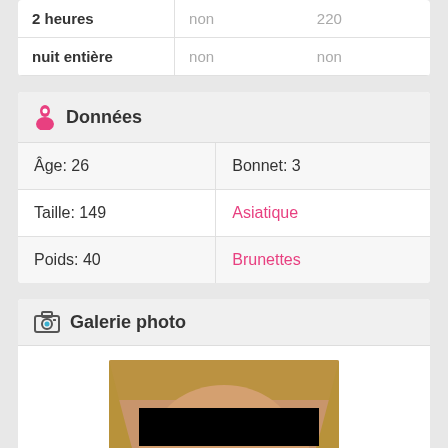|  |  |  |
| --- | --- | --- |
| 2 heures | non | 220 |
| nuit entière | non | non |
Données
| Âge: 26 | Bonnet: 3 |
| Taille: 149 | Asiatique |
| Poids: 40 | Brunettes |
Galerie photo
[Figure (photo): Photo of a woman with blonde/brown hair, face obscured by a black redaction bar across the eyes]